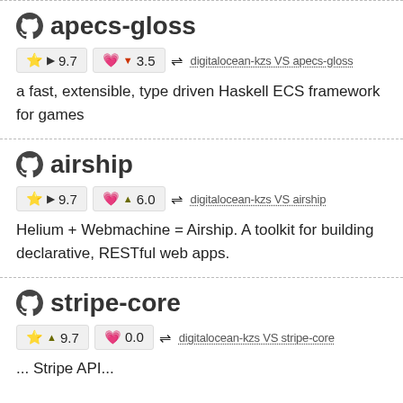apecs-gloss
★ ▶ 9.7   💗 ▼ 3.5   ⇌ digitalocean-kzs VS apecs-gloss
a fast, extensible, type driven Haskell ECS framework for games
airship
★ ▶ 9.7   💗 ▲ 6.0   ⇌ digitalocean-kzs VS airship
Helium + Webmachine = Airship. A toolkit for building declarative, RESTful web apps.
stripe-core
★ ▲ 9.7   💗 0.0   ⇌ digitalocean-kzs VS stripe-core
... Stripe API...